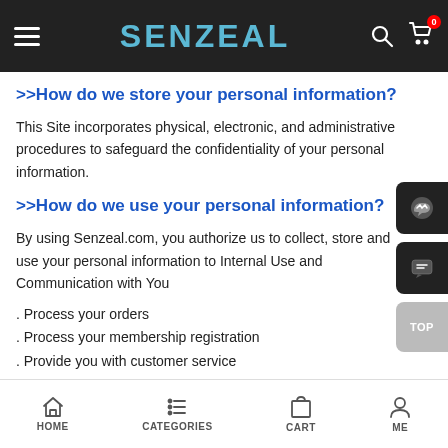SENZEAL
>>How do we store your personal information?
This Site incorporates physical, electronic, and administrative procedures to safeguard the confidentiality of your personal information.
>>How do we use your personal information?
By using Senzeal.com, you authorize us to collect, store and use your personal information to Internal Use and Communication with You
. Process your orders
. Process your membership registration
. Provide you with customer service
. Identity you with our payment partners
HOME  CATEGORIES  CART  ME